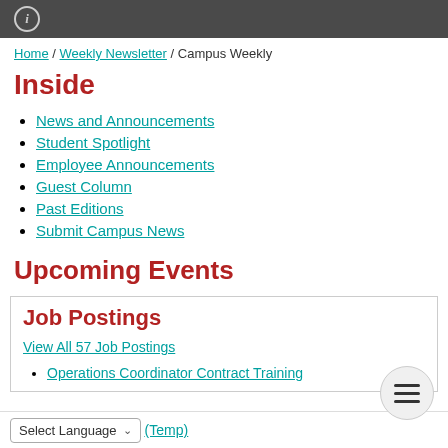ℹ
Home / Weekly Newsletter / Campus Weekly
Inside
News and Announcements
Student Spotlight
Employee Announcements
Guest Column
Past Editions
Submit Campus News
Upcoming Events
Job Postings
View All 57 Job Postings
Operations Coordinator Contract Training
(Temp)